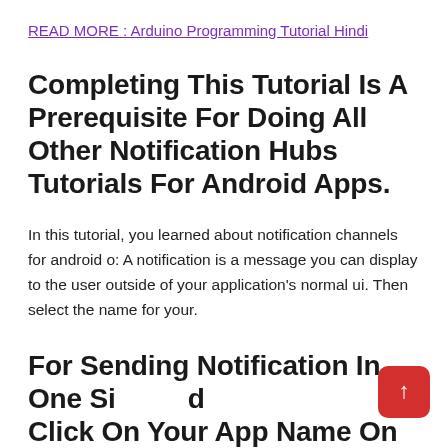READ MORE :  Arduino Programming Tutorial Hindi
Completing This Tutorial Is A Prerequisite For Doing All Other Notification Hubs Tutorials For Android Apps.
In this tutorial, you learned about notification channels for android o: A notification is a message you can display to the user outside of your application's normal ui. Then select the name for your.
For Sending Notification In One Simple Click On Your App Name On The Top